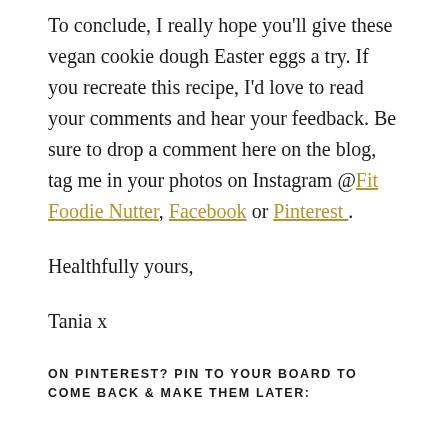To conclude, I really hope you'll give these vegan cookie dough Easter eggs a try. If you recreate this recipe, I'd love to read your comments and hear your feedback. Be sure to drop a comment here on the blog, tag me in your photos on Instagram @Fit Foodie Nutter, Facebook or Pinterest .
Healthfully yours,
Tania x
ON PINTEREST? PIN TO YOUR BOARD TO COME BACK & MAKE THEM LATER: